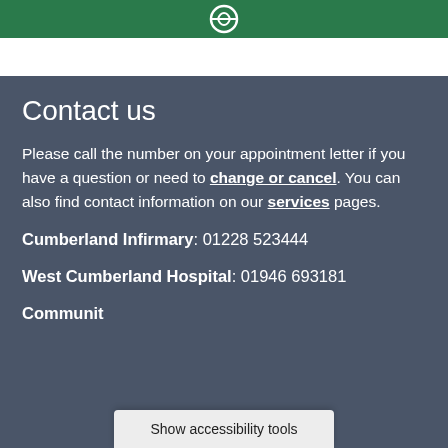[Figure (logo): Green banner with a white circular logo/icon at top]
Contact us
Please call the number on your appointment letter if you have a question or need to change or cancel. You can also find contact information on our services pages.
Cumberland Infirmary: 01228 523444
West Cumberland Hospital: 01946 693181
Communit
Show accessibility tools